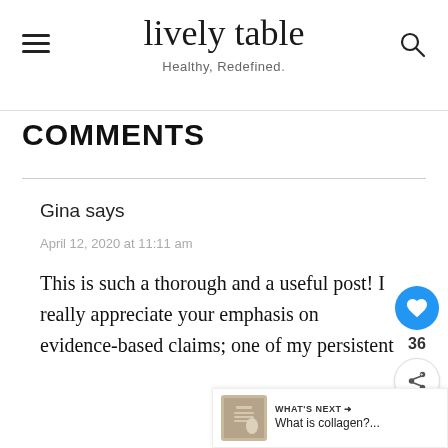lively table — Healthy, Redefined.
COMMENTS
Gina says
April 12, 2020 at 11:11 am
This is such a thorough and a useful post! I really appreciate your emphasis on evidence-based claims; one of my persistent